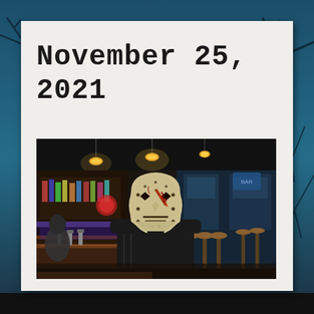November 25, 2021
[Figure (photo): Person wearing a Jason Voorhees hockey mask costume inside a bar/restaurant venue. The person is in dark clothing with the iconic white hockey mask with red markings. The background shows a bar interior with hanging lights, bar stools, and colorful decorations.]